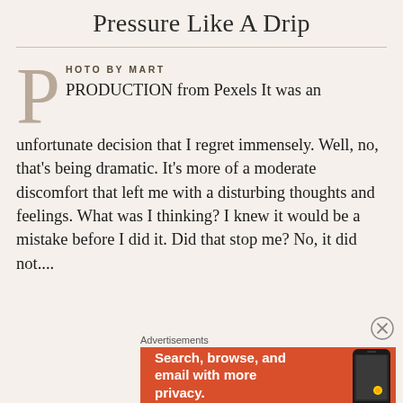Pressure Like A Drip
PHOTO BY MART
PRODUCTION from Pexels It was an unfortunate decision that I regret immensely. Well, no, that's being dramatic. It's more of a moderate discomfort that left me with a disturbing thoughts and feelings. What was I thinking? I knew it would be a mistake before I did it. Did that stop me? No, it did not....
Advertisements
[Figure (screenshot): DuckDuckGo advertisement banner with text 'Search, browse, and email with more privacy.' on orange background with phone graphic]